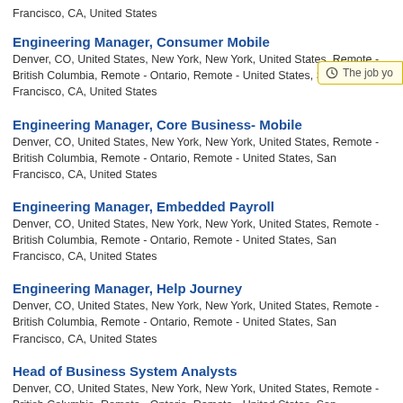Francisco, CA, United States
Engineering Manager, Consumer Mobile
Denver, CO, United States, New York, New York, United States, Remote - British Columbia, Remote - Ontario, Remote - United States, San Francisco, CA, United States
Engineering Manager, Core Business- Mobile
Denver, CO, United States, New York, New York, United States, Remote - British Columbia, Remote - Ontario, Remote - United States, San Francisco, CA, United States
Engineering Manager, Embedded Payroll
Denver, CO, United States, New York, New York, United States, Remote - British Columbia, Remote - Ontario, Remote - United States, San Francisco, CA, United States
Engineering Manager, Help Journey
Denver, CO, United States, New York, New York, United States, Remote - British Columbia, Remote - Ontario, Remote - United States, San Francisco, CA, United States
Head of Business System Analysts
Denver, CO, United States, New York, New York, United States, Remote - British Columbia, Remote - Ontario, Remote - United States, San Francisco, CA, United States